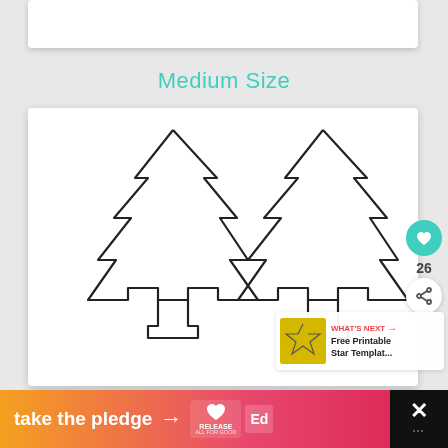[Figure (screenshot): Top white card strip partially visible at top of page]
Medium Size
[Figure (illustration): White card showing two Christmas tree outline templates side by side on a white background, with a heart/like button showing count of 26, a share button, and a 'What's Next' overlay showing Free Printable Star Templat... thumbnail]
26
WHAT'S NEXT → Free Printable Star Templat...
[Figure (screenshot): Bottom peek of another white card with small tree outlines]
[Figure (infographic): Advertisement banner: take the pledge → RELEASE logo, with close button on right]